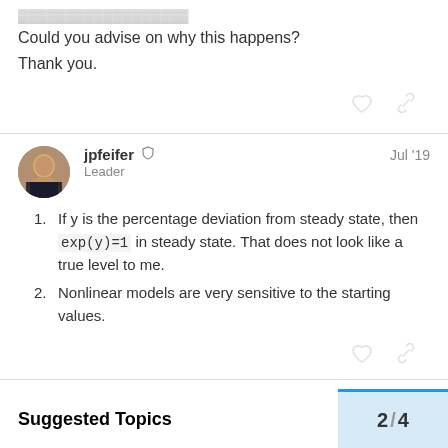Could you advise on why this happens?
Thank you.
jpfeifer  Leader  Jul '19
If y is the percentage deviation from steady state, then exp(y)=1 in steady state. That does not look like a true level to me.
Nonlinear models are very sensitive to the starting values.
Suggested Topics
2 / 4